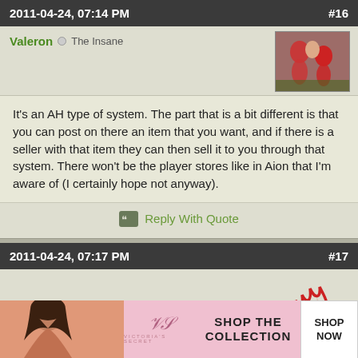2011-04-24, 07:14 PM  #16
Valeron  The Insane
It's an AH type of system. The part that is a bit different is that you can post on there an item that you want, and if there is a seller with that item they can then sell it to you through that system. There won't be the player stores like in Aion that I'm aware of (I certainly hope not anyway).
Reply With Quote
2011-04-24, 07:17 PM  #17
Mothhive  Herald of the Titans
Originally Posted by Trollsbane
You post bids in an AH type of thing, or is it like Aion's individual stores but reversed?
They did... it sounds like the A...he
[Figure (photo): Victoria's Secret advertisement banner with woman and shop the collection text]